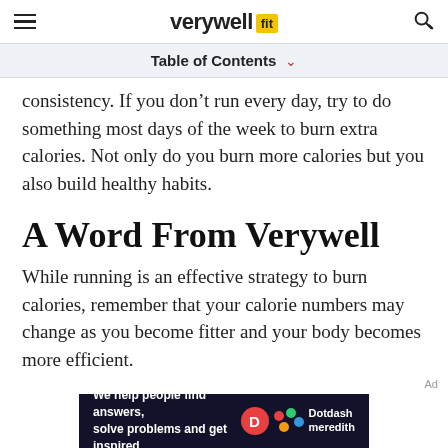verywellfit
Table of Contents
consistency. If you don't run every day, try to do something most days of the week to burn extra calories. Not only do you burn more calories but you also build healthy habits.
A Word From Verywell
While running is an effective strategy to burn calories, remember that your calorie numbers may change as you become fitter and your body becomes more efficient.
[Figure (other): Dotdash Meredith advertisement banner with text: We help people find answers, solve problems and get inspired.]